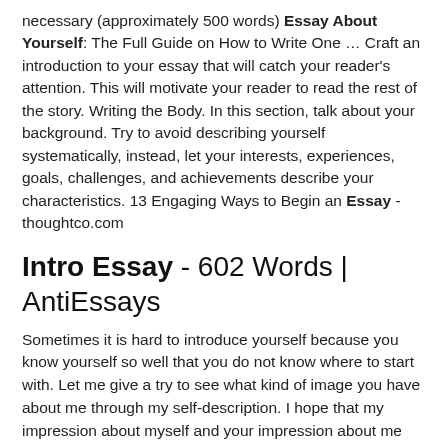necessary (approximately 500 words) Essay About Yourself: The Full Guide on How to Write One … Craft an introduction to your essay that will catch your reader's attention. This will motivate your reader to read the rest of the story. Writing the Body. In this section, talk about your background. Try to avoid describing yourself systematically, instead, let your interests, experiences, goals, challenges, and achievements describe your characteristics. 13 Engaging Ways to Begin an Essay - thoughtco.com
Intro Essay - 602 Words | AntiEssays
Sometimes it is hard to introduce yourself because you know yourself so well that you do not know where to start with. Let me give a try to see what kind of image you have about me through my self-description. I hope that my impression about myself and your impression about me are not so different. Here it goes. Self Introduction Essay -